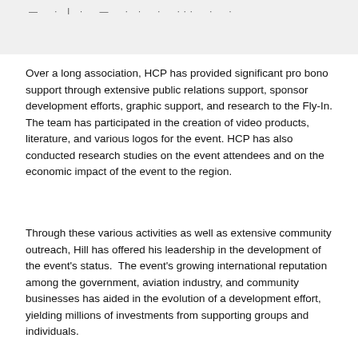— · · l · — · · · · · · · · · ·
Over a long association, HCP has provided significant pro bono support through extensive public relations support, sponsor development efforts, graphic support, and research to the Fly-In. The team has participated in the creation of video products, literature, and various logos for the event. HCP has also conducted research studies on the event attendees and on the economic impact of the event to the region.
Through these various activities as well as extensive community outreach, Hill has offered his leadership in the development of the event's status.  The event's growing international reputation among the government, aviation industry, and community businesses has aided in the evolution of a development effort, yielding millions of investments from supporting groups and individuals.